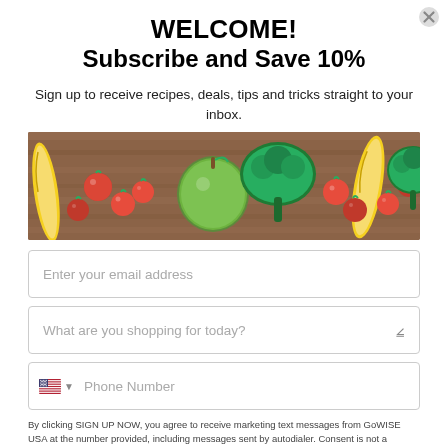WELCOME!
Subscribe and Save 10%
Sign up to receive recipes, deals, tips and tricks straight to your inbox.
[Figure (photo): Horizontal banner photo of fresh vegetables and fruits on a wooden surface: bananas, cherry tomatoes, broccoli, a green apple.]
Enter your email address
What are you shopping for today?
Phone Number
By clicking SIGN UP NOW, you agree to receive marketing text messages from GoWISE USA at the number provided, including messages sent by autodialer. Consent is not a condition of any purchase. Message and data rates may apply. Message frequency